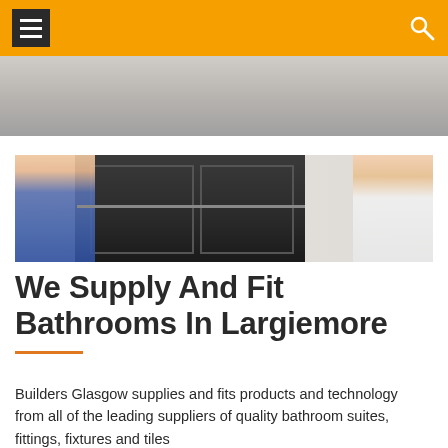Navigation bar with menu and search icons
[Figure (photo): Top partial photo showing a grey/neutral background, partially cropped]
[Figure (photo): Two workers installing dark bathroom cabinets/units — left person in jeans holding dark panel, right person in white shirt assisting]
We Supply And Fit Bathrooms In Largiemore
Builders Glasgow supplies and fits products and technology from all of the leading suppliers of quality bathroom suites, fittings, fixtures and tiles